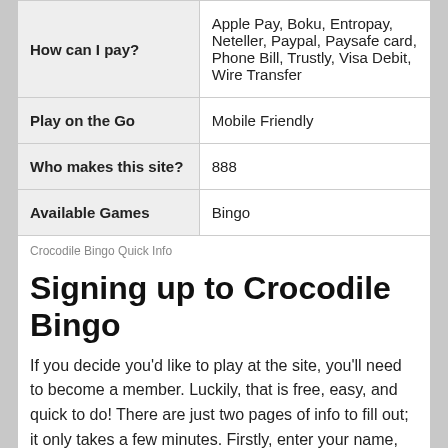|  |  |
| --- | --- |
| How can I pay? | Apple Pay, Boku, Entropay, Neteller, Paypal, Paysafe card, Phone Bill, Trustly, Visa Debit, Wire Transfer |
| Play on the Go | Mobile Friendly |
| Who makes this site? | 888 |
| Available Games | Bingo |
Crocodile Bingo Quick Info
Signing up to Crocodile Bingo
If you decide you'd like to play at the site, you'll need to become a member. Luckily, that is free, easy, and quick to do! There are just two pages of info to fill out; it only takes a few minutes. Firstly, enter your name, email, date of birth, and gender into the correct boxes. That's